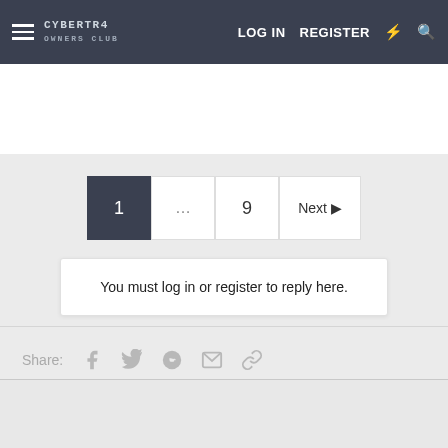CYBERTR4 OWNERS CLUB — LOG IN   REGISTER
1 … 9 Next
You must log in or register to reply here.
Share:
[Figure (screenshot): Advertisement placeholder box with X close button in bottom portion of page]